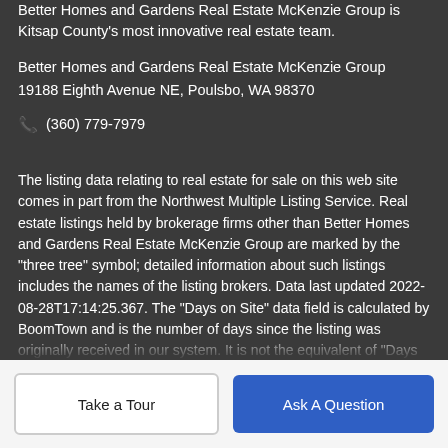Better Homes and Gardens Real Estate McKenzie Group is Kitsap County's most innovative real estate team.
Better Homes and Gardens Real Estate McKenzie Group
19188 Eighth Avenue NE, Poulsbo, WA 98370
(360) 779-7979
The listing data relating to real estate for sale on this web site comes in part from the Northwest Multiple Listing Service. Real estate listings held by brokerage firms other than Better Homes and Gardens Real Estate McKenzie Group are marked by the "three tree" symbol; detailed information about such listings includes the names of the listing brokers. Data last updated 2022-08-28T17:14:25.367. The "Days on Site" data field is calculated by BoomTown and is the number of days since the listing was originally received in our system. It is not the equivalent of "Days on Market".
Take a Tour
Ask A Question